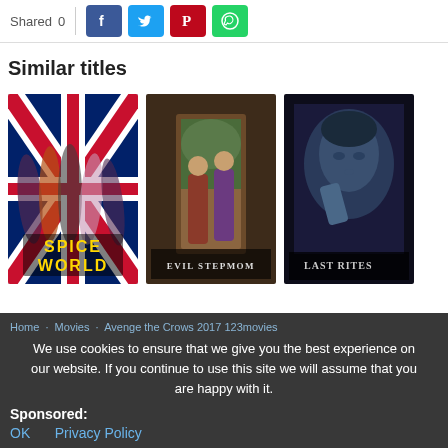Shared 0
[Figure (screenshot): Social share buttons: Facebook (blue), Twitter (light blue), Pinterest (red), WhatsApp (green)]
Similar titles
[Figure (photo): Movie poster: Spice World - Spice Girls on Union Jack background with yellow text]
[Figure (photo): Movie poster: Evil Stepmom - two women at a doorway with title text]
[Figure (photo): Movie poster: Last Rites - dark blue toned portrait of a man]
Home · Movies · Avenge the Crows 2017 123movies
We use cookies to ensure that we give you the best experience on our website. If you continue to use this site we will assume that you are happy with it.
Sponsored:
OK   Privacy Policy